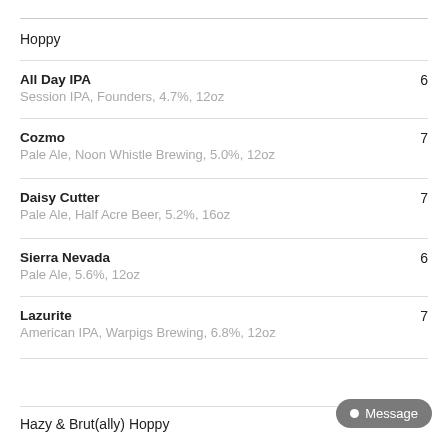Hoppy
All Day IPA
Session IPA, Founders, 4.7%, 12oz
6
Cozmo
Pale Ale, Noon Whistle Brewing, 5.0%, 12oz
7
Daisy Cutter
Pale Ale, Half Acre Beer, 5.2%, 16oz
7
Sierra Nevada
Pale Ale, 5.6%, 12oz
6
Lazurite
American IPA, Warpigs Brewing, 6.8%, 12oz
7
Hazy & Brut(ally) Hoppy